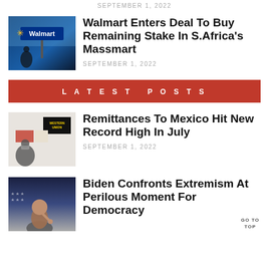SEPTEMBER 1, 2022
Walmart Enters Deal To Buy Remaining Stake In S.Africa's Massmart
SEPTEMBER 1, 2022
LATEST POSTS
Remittances To Mexico Hit New Record High In July
SEPTEMBER 1, 2022
Biden Confronts Extremism At Perilous Moment For Democracy
GO TO TOP